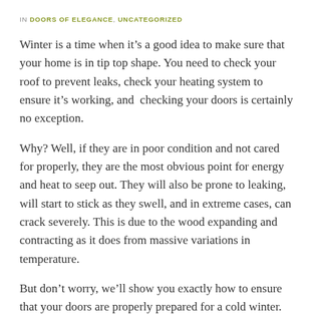IN DOORS OF ELEGANCE, UNCATEGORIZED
Winter is a time when it’s a good idea to make sure that your home is in tip top shape. You need to check your roof to prevent leaks, check your heating system to ensure it’s working, and  checking your doors is certainly no exception.
Why? Well, if they are in poor condition and not cared for properly, they are the most obvious point for energy and heat to seep out. They will also be prone to leaking, will start to stick as they swell, and in extreme cases, can crack severely. This is due to the wood expanding and contracting as it does from massive variations in temperature.
But don’t worry, we’ll show you exactly how to ensure that your doors are properly prepared for a cold winter.